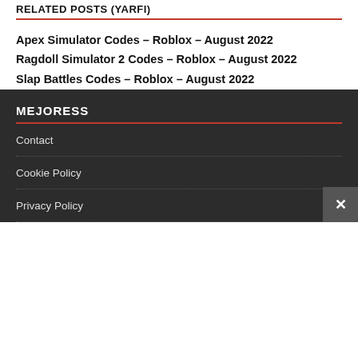RELATED POSTS (YARFI)
Apex Simulator Codes – Roblox – August 2022
Ragdoll Simulator 2 Codes – Roblox – August 2022
Slap Battles Codes – Roblox – August 2022
MEJORESS
Contact
Cookie Policy
Privacy Policy